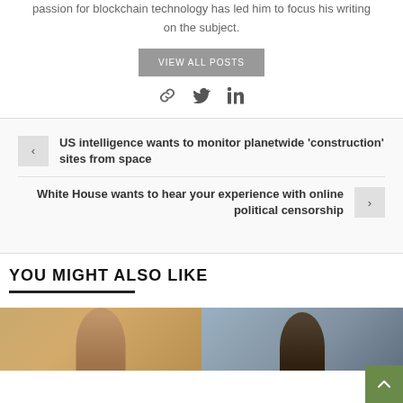passion for blockchain technology has led him to focus his writing on the subject.
VIEW ALL POSTS
[Figure (infographic): Social share icons: link, Twitter bird, LinkedIn]
US intelligence wants to monitor planetwide 'construction' sites from space
White House wants to hear your experience with online political censorship
YOU MIGHT ALSO LIKE
[Figure (photo): Two photo thumbnails side by side showing people]